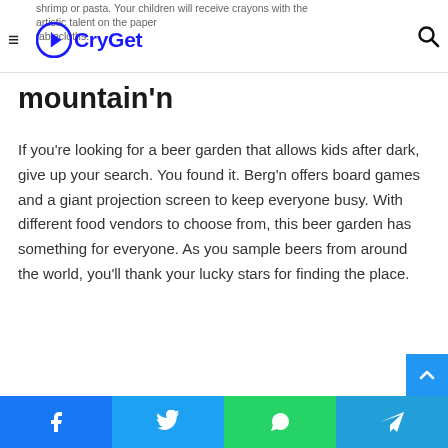shrimp or pasta. Your children will receive crayons with the artistic talent on the paper tablecloths. [CryGet logo] ☰ 🔍
mountain'n
If you're looking for a beer garden that allows kids after dark, give up your search. You found it. Berg'n offers board games and a giant projection screen to keep everyone busy. With different food vendors to choose from, this beer garden has something for everyone. As you sample beers from around the world, you'll thank your lucky stars for finding the place.
Facebook | Twitter | WhatsApp | Telegram